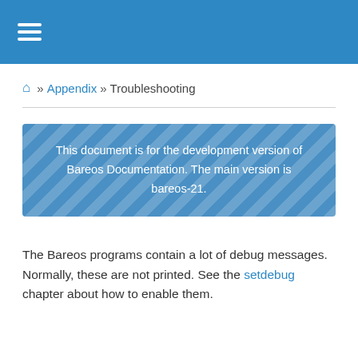☰
⌂ » Appendix » Troubleshooting
This document is for the development version of Bareos Documentation. The main version is bareos-21.
The Bareos programs contain a lot of debug messages. Normally, these are not printed. See the setdebug chapter about how to enable them.